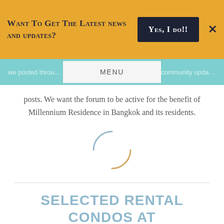Want To Get The Latest news and updates?
MENU
posts. We want the forum to be active for the benefit of Millennium Residence in Bangkok and its residents.
[Figure (other): Loading spinner graphic — two arcs forming a circular loading indicator]
SELECTED RENTAL CONDOS AT MILLENNIUM RESIDENCE IN BANGKOK
Now you can also list your condo for sale or rental